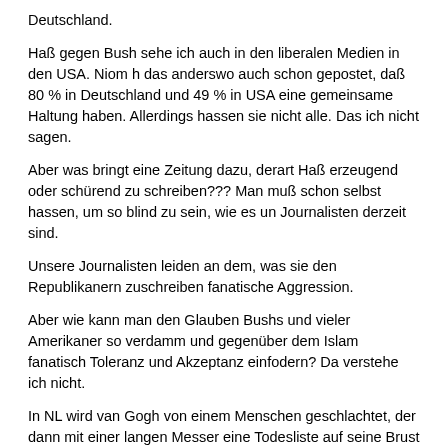Deutschland.
Haß gegen Bush sehe ich auch in den liberalen Medien in den USA. Niom h das anderswo auch schon gepostet, daß 80 % in Deutschland und 49 % in USA eine gemeinsame Haltung haben. Allerdings hassen sie nicht alle. Das ich nicht sagen.
Aber was bringt eine Zeitung dazu, derart Haß erzeugend oder schürend zu schreiben??? Man muß schon selbst hassen, um so blind zu sein, wie es un Journalisten derzeit sind.
Unsere Journalisten leiden an dem, was sie den Republikanern zuschreiben fanatische Aggression.
Aber wie kann man den Glauben Bushs und vieler Amerikaner so verdamm und gegenüber dem Islam fanatisch Toleranz und Akzeptanz einfodern? Da verstehe ich nicht.
In NL wird van Gogh von einem Menschen geschlachtet, der dann mit einer langen Messer eine Todesliste auf seine Brust nagelt. Menschen, die sich n über den Islam geäußert haben, sollen getötet werden.
Da schreien unsere Medien gleich wieder auf, diesen armen Jungen nur nio hart anzufassen. Das bißchen Töten werden wir doch wohl noch verkraften können.
Wer weiß da noch 45 Jahre älter...